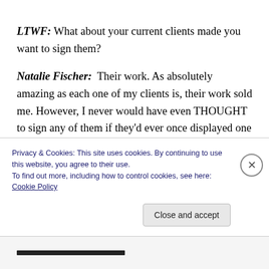LTWF: What about your current clients made you want to sign them?
Natalie Fischer:  Their work. As absolutely amazing as each one of my clients is, their work sold me. However, I never would have even THOUGHT to sign any of them if they'd ever once displayed one ounce of non-professionalism in the query stage. I'm not saying each one followed guidelines, believe it or not; but if I called
Privacy & Cookies: This site uses cookies. By continuing to use this website, you agree to their use.
To find out more, including how to control cookies, see here: Cookie Policy
Close and accept